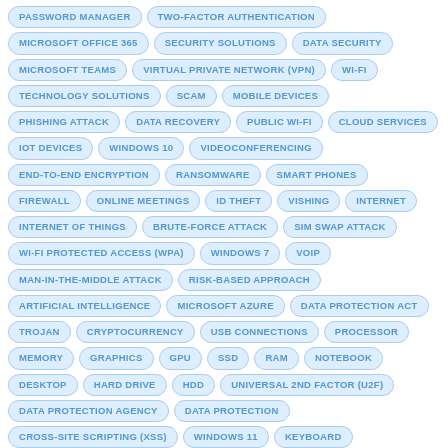PASSWORD MANAGER
TWO-FACTOR AUTHENTICATION
MICROSOFT OFFICE 365
SECURITY SOLUTIONS
DATA SECURITY
MICROSOFT TEAMS
VIRTUAL PRIVATE NETWORK (VPN)
WI-FI
TECHNOLOGY SOLUTIONS
SCAM
MOBILE DEVICES
PHISHING ATTACK
DATA RECOVERY
PUBLIC WI-FI
CLOUD SERVICES
IOT DEVICES
WINDOWS 10
VIDEOCONFERENCING
END-TO-END ENCRYPTION
RANSOMWARE
SMART PHONES
FIREWALL
ONLINE MEETINGS
ID THEFT
VISHING
INTERNET
INTERNET OF THINGS
BRUTE-FORCE ATTACK
SIM SWAP ATTACK
WI-FI PROTECTED ACCESS (WPA)
WINDOWS 7
VOIP
MAN-IN-THE-MIDDLE ATTACK
RISK-BASED APPROACH
ARTIFICIAL INTELLIGENCE
MICROSOFT AZURE
DATA PROTECTION ACT
TROJAN
CRYPTOCURRENCY
USB CONNECTIONS
PROCESSOR
MEMORY
GRAPHICS
GPU
SSD
RAM
NOTEBOOK
DESKTOP
HARD DRIVE
HDD
UNIVERSAL 2ND FACTOR (U2F)
DATA PROTECTION AGENCY
DATA PROTECTION
CROSS-SITE SCRIPTING (XSS)
WINDOWS 11
KEYBOARD
SHORTCUTS
CREDENTIAL STUFFING
PASSWORD SPRAYING
MICROSOFT EXCHANGE SERVER
COOKIES
MICROSOFT BOOKINGS
G SUITE
FLEECEWARE
DISASTER RECOVERY PLAN
CPU
CHECK FRAUD